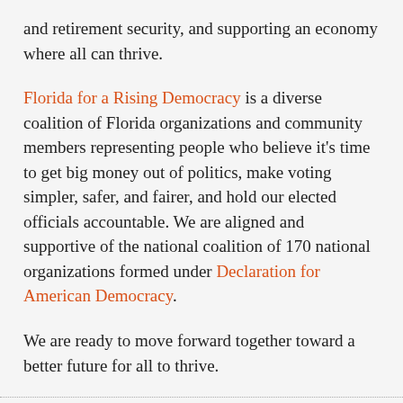and retirement security, and supporting an economy where all can thrive.
Florida for a Rising Democracy is a diverse coalition of Florida organizations and community members representing people who believe it's time to get big money out of politics, make voting simpler, safer, and fairer, and hold our elected officials accountable. We are aligned and supportive of the national coalition of 170 national organizations formed under Declaration for American Democracy.
We are ready to move forward together toward a better future for all to thrive.